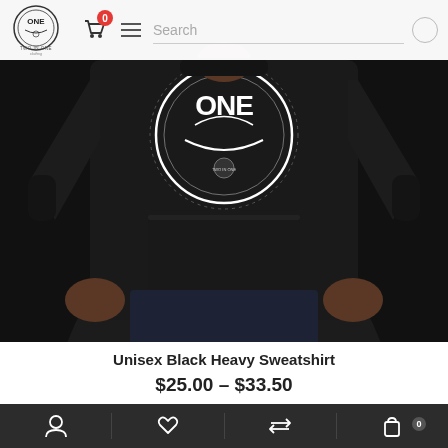[Figure (screenshot): E-commerce product page screenshot showing a person wearing a black heavy sweatshirt with a circular 'Two In One' logo design on the chest. The page has a navigation bar at the top with a logo, cart icon, hamburger menu, and search box. Below the product image is the product title and price range. A bottom navigation bar shows account, wishlist, compare, and cart icons.]
Unisex Black Heavy Sweatshirt
$25.00 – $33.50